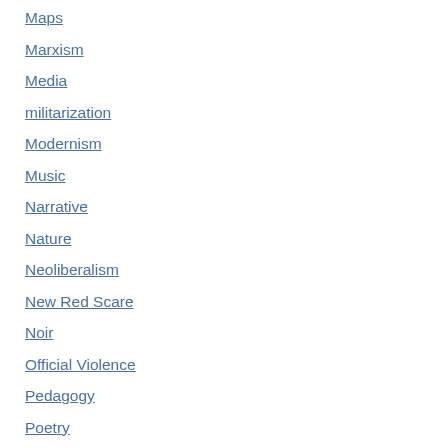Maps
Marxism
Media
militarization
Modernism
Music
Narrative
Nature
Neoliberalism
New Red Scare
Noir
Official Violence
Pedagogy
Poetry
Politics
Pop Cult Reviews
Pop culture
Postmodernism
Psas